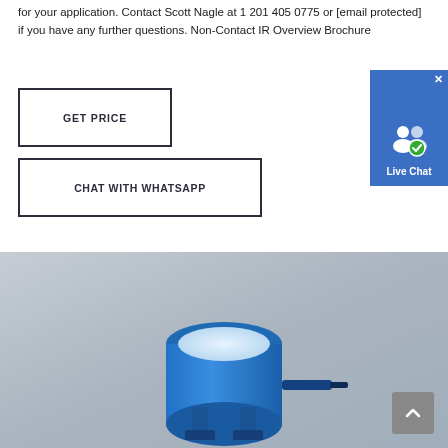for your application. Contact Scott Nagle at 1 201 405 0775 or [email protected] if you have any further questions. Non-Contact IR Overview Brochure
GET PRICE
CHAT WITH WHATSAPP
[Figure (screenshot): Live Chat button widget with user icon and blue background]
[Figure (photo): Blue cylindrical non-contact infrared sensor/device on a gray gradient background, with a scroll-to-top button in the bottom right corner]